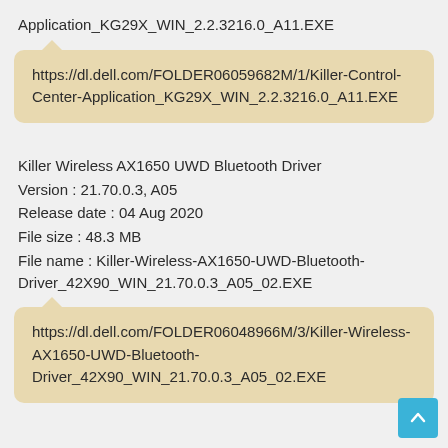Application_KG29X_WIN_2.2.3216.0_A11.EXE
https://dl.dell.com/FOLDER06059682M/1/Killer-Control-Center-Application_KG29X_WIN_2.2.3216.0_A11.EXE
Killer Wireless AX1650 UWD Bluetooth Driver
Version : 21.70.0.3, A05
Release date : 04 Aug 2020
File size : 48.3 MB
File name : Killer-Wireless-AX1650-UWD-Bluetooth-Driver_42X90_WIN_21.70.0.3_A05_02.EXE
https://dl.dell.com/FOLDER06048966M/3/Killer-Wireless-AX1650-UWD-Bluetooth-Driver_42X90_WIN_21.70.0.3_A05_02.EXE